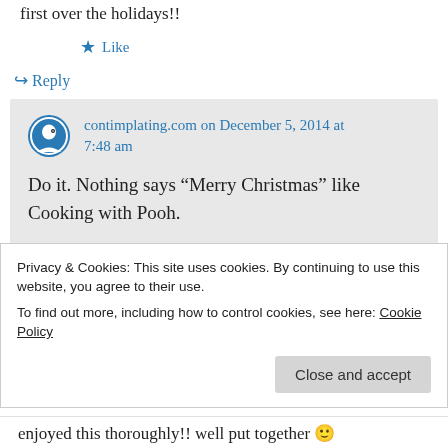first over the holidays!!
★ Like
↪ Reply
contimplating.com on December 5, 2014 at 7:48 am
Do it. Nothing says “Merry Christmas” like Cooking with Pooh.
★ Like
Privacy & Cookies: This site uses cookies. By continuing to use this website, you agree to their use.
To find out more, including how to control cookies, see here: Cookie Policy
Close and accept
enjoyed this thoroughly!! well put together 🙂